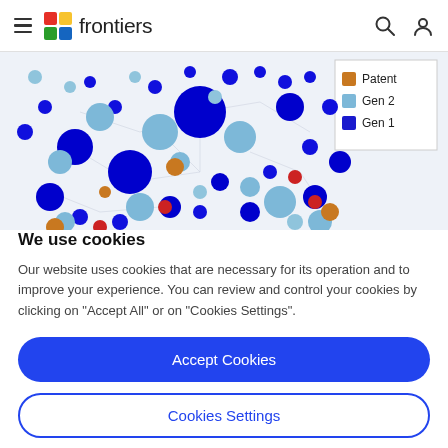frontiers
[Figure (network-graph): Network graph showing interconnected circles of various sizes and colors (dark blue Gen 1, light blue Gen 2, orange/brown Patent, red nodes) with a legend showing Patent, Gen 2, Gen 1 categories.]
We use cookies
Our website uses cookies that are necessary for its operation and to improve your experience. You can review and control your cookies by clicking on "Accept All" or on "Cookies Settings".
Accept Cookies
Cookies Settings